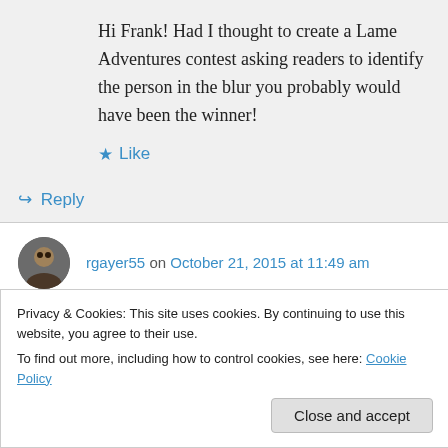Hi Frank! Had I thought to create a Lame Adventures contest asking readers to identify the person in the blur you probably would have been the winner!
Like
Reply
rgayer55 on October 21, 2015 at 11:49 am
You could write a review of watching paint peel
Privacy & Cookies: This site uses cookies. By continuing to use this website, you agree to their use.
To find out more, including how to control cookies, see here: Cookie Policy
Close and accept